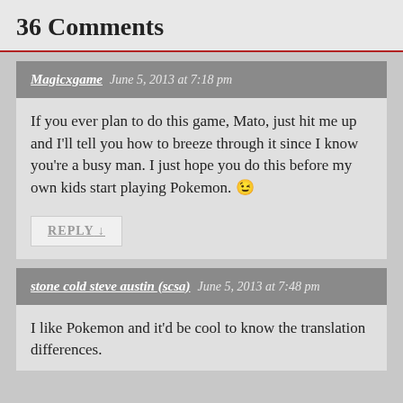36 Comments
Magicxgame   June 5, 2013 at 7:18 pm
If you ever plan to do this game, Mato, just hit me up and I'll tell you how to breeze through it since I know you're a busy man. I just hope you do this before my own kids start playing Pokemon. 😉
REPLY ↓
stone cold steve austin (scsa)   June 5, 2013 at 7:48 pm
I like Pokemon and it'd be cool to know the translation differences.